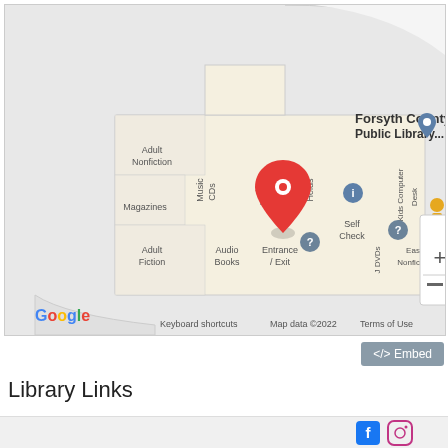[Figure (map): Google Maps view of Forsyth County Public Library interior map showing sections: Adult Nonfiction, Music CDs, Magazines, Adult Fiction, Audio Books, Entrance/Exit, Service Desk, Holds, Self Check, J DVDs, Easy Nonfiction, Kids Computer Desk. Red location pin visible. Map data ©2022.]
</> Embed
Library Links